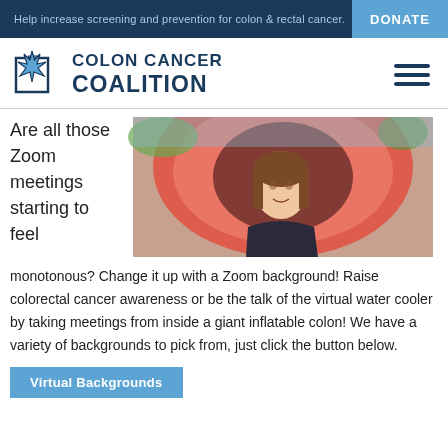Help increase screening and prevention for colon & rectal cancer.
[Figure (logo): Colon Cancer Coalition logo with blue star/colon graphic and text 'COLON CANCER COALITION']
Are all those Zoom meetings starting to feel
[Figure (photo): Woman smiling in front of a large inflatable colon structure, outdoors]
monotonous? Change it up with a Zoom background! Raise colorectal cancer awareness or be the talk of the virtual water cooler by taking meetings from inside a giant inflatable colon! We have a variety of backgrounds to pick from, just click the button below.
Virtual Backgrounds